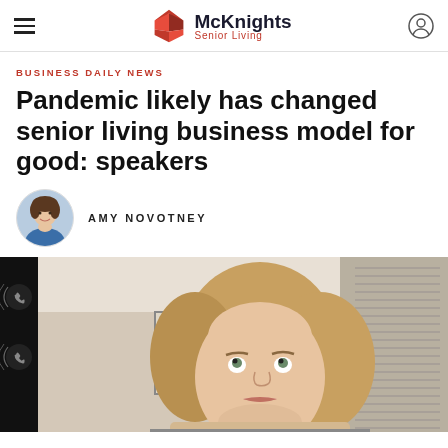McKnights Senior Living
BUSINESS DAILY NEWS
Pandemic likely has changed senior living business model for good: speakers
AMY NOVOTNEY
[Figure (photo): Video call screenshot showing a blonde woman looking upward, sitting in front of a room with a framed picture on the wall and a curtained window. The left edge shows a dark video call sidebar with phone icons.]